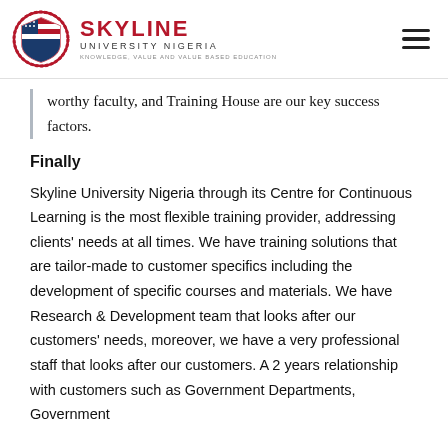Skyline University Nigeria [logo and navigation]
worthy faculty, and Training House are our key success factors.
Finally
Skyline University Nigeria through its Centre for Continuous Learning is the most flexible training provider, addressing clients' needs at all times. We have training solutions that are tailor-made to customer specifics including the development of specific courses and materials. We have Research & Development team that looks after our customers' needs, moreover, we have a very professional staff that looks after our customers. A 2 years relationship with customers such as Government Departments, Government